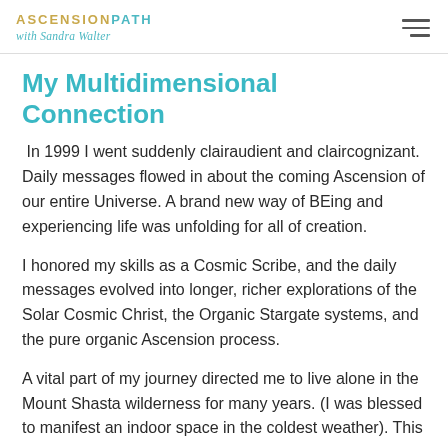ASCENSIONPATH with Sandra Walter
My Multidimensional Connection
In 1999 I went suddenly clairaudient and claircognizant. Daily messages flowed in about the coming Ascension of our entire Universe. A brand new way of BEing and experiencing life was unfolding for all of creation.
I honored my skills as a Cosmic Scribe, and the daily messages evolved into longer, richer explorations of the Solar Cosmic Christ, the Organic Stargate systems, and the pure organic Ascension process.
A vital part of my journey directed me to live alone in the Mount Shasta wilderness for many years. (I was blessed to manifest an indoor space in the coldest weather). This